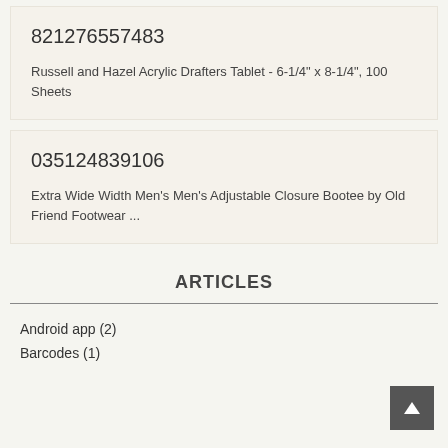821276557483
Russell and Hazel Acrylic Drafters Tablet - 6-1/4" x 8-1/4", 100 Sheets
035124839106
Extra Wide Width Men's Men's Adjustable Closure Bootee by Old Friend Footwear ...
ARTICLES
Android app (2)
Barcodes (1)